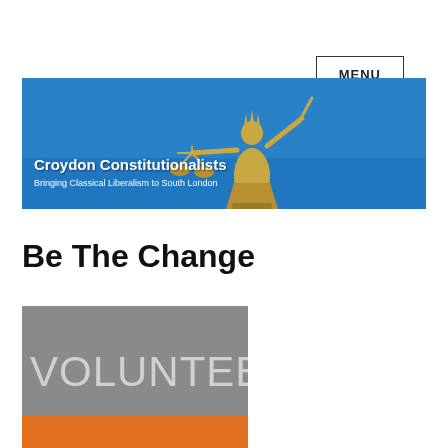MENU
[Figure (illustration): Banner image showing Lady Justice golden statue against blue sky with text 'Croydon Constitutionalists - Bringing Classical Liberalism to South London']
Be The Change
[Figure (illustration): Volunteer graphic with grey background showing 'VOLUNTEER' text in large letters and orange bar at bottom]